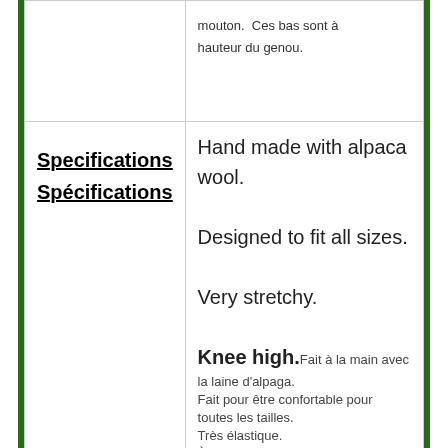mouton. Ces bas sont à hauteur du genou.
Specifications
Spécifications
Hand made with alpaca wool. Designed to fit all sizes. Very stretchy. Knee high. Fait à la main avec la laine d'alpaga. Fait pour être confortable pour toutes les tailles. Très élastique. À la hauteur du genou.
Contact Us
www.etchiboy.com